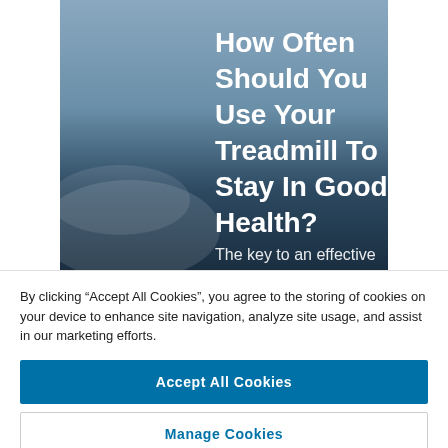[Figure (photo): Dark blue-grey misty sky background with white bold text overlay reading 'How Often Should You Use Your Treadmill To Stay In Good Health?' and subtitle starting 'The key to an effective']
By clicking “Accept All Cookies”, you agree to the storing of cookies on your device to enhance site navigation, analyze site usage, and assist in our marketing efforts.
Accept All Cookies
Manage Cookies